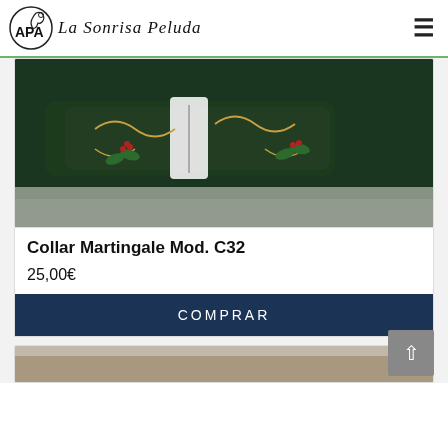APA La Sonrisa Peluda
[Figure (photo): Close-up photo of a dark green Martingale dog collar with decorative botanical pattern featuring holly leaves, berries, and gold scrollwork against a dark background.]
Collar Martingale Mod. C32
25,00€
COMPRAR
[Figure (photo): Partial view of another product card below, showing the top edge of a product image.]